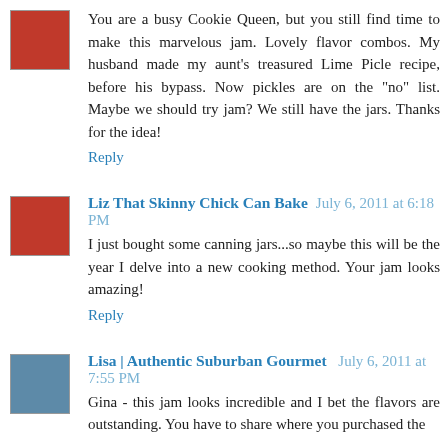You are a busy Cookie Queen, but you still find time to make this marvelous jam. Lovely flavor combos. My husband made my aunt's treasured Lime Picle recipe, before his bypass. Now pickles are on the "no" list. Maybe we should try jam? We still have the jars. Thanks for the idea!
Reply
Liz That Skinny Chick Can Bake  July 6, 2011 at 6:18 PM
I just bought some canning jars...so maybe this will be the year I delve into a new cooking method. Your jam looks amazing!
Reply
Lisa | Authentic Suburban Gourmet  July 6, 2011 at 7:55 PM
Gina - this jam looks incredible and I bet the flavors are outstanding. You have to share where you purchased the